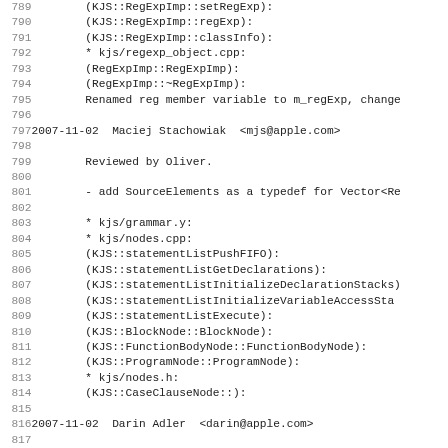Source code / changelog lines 789-820 showing commit log entries for KJS regexp and grammar changes by Maciej Stachowiak and Darin Adler on 2007-11-02